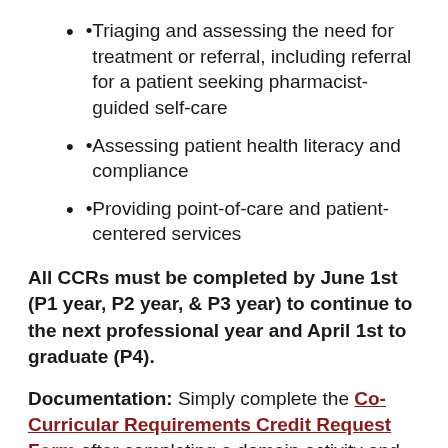Triaging and assessing the need for treatment or referral, including referral for a patient seeking pharmacist-guided self-care
Assessing patient health literacy and compliance
Providing point-of-care and patient-centered services
All CCRs must be completed by June 1st (P1 year, P2 year, & P3 year) to continue to the next professional year and April 1st to graduate (P4).
Documentation: Simply complete the Co-Curricular Requirements Credit Request Form after completing a domain activity and after completing service learning hours.